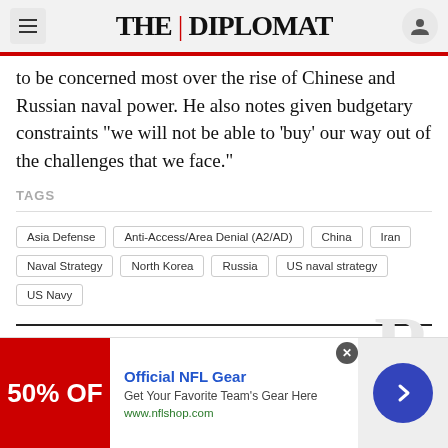THE | DIPLOMAT
to be concerned most over the rise of Chinese and Russian naval power. He also notes given budgetary constraints “we will not be able to ‘buy’ our way out of the challenges that we face.”
TAGS
Asia Defense
Anti-Access/Area Denial (A2/AD)
China
Iran
Naval Strategy
North Korea
Russia
US naval strategy
US Navy
RELATED
[Figure (other): Advertisement banner for Official NFL Gear showing 50% off text and arrow button]